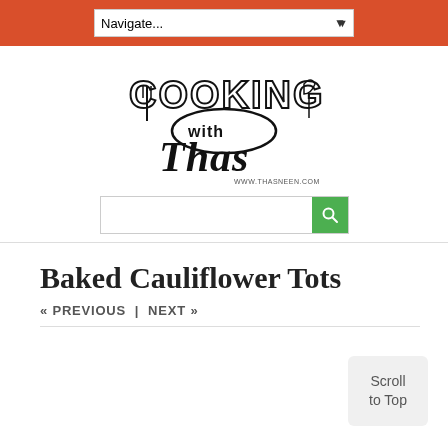Navigate...
[Figure (logo): Cooking with Thas logo — stylized text logo with utensils, www.thasneen.com]
[Figure (other): Search bar with green search button]
Baked Cauliflower Tots
« PREVIOUS |  NEXT »
Scroll to Top